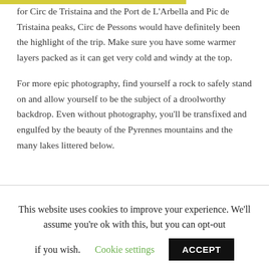for Circ de Tristaina and the Port de L'Arbella and Pic de Tristaina peaks, Circ de Pessons would have definitely been the highlight of the trip. Make sure you have some warmer layers packed as it can get very cold and windy at the top.
For more epic photography, find yourself a rock to safely stand on and allow yourself to be the subject of a droolworthy backdrop. Even without photography, you'll be transfixed and engulfed by the beauty of the Pyrennes mountains and the many lakes littered below.
This website uses cookies to improve your experience. We'll assume you're ok with this, but you can opt-out if you wish. Cookie settings ACCEPT